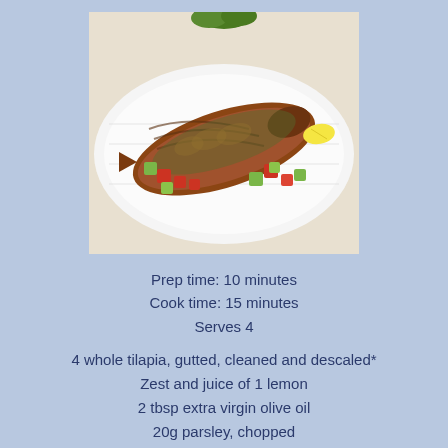[Figure (photo): Grilled whole tilapia on a white rectangular plate, garnished with diced tomatoes and avocado salsa, with lemon wedge]
Prep time: 10 minutes
Cook time: 15 minutes
Serves 4
4 whole tilapia, gutted, cleaned and descaled*
Zest and juice of 1 lemon
2 tbsp extra virgin olive oil
20g parsley, chopped
2 ripe avocados, diced
3 tomatoes, diced